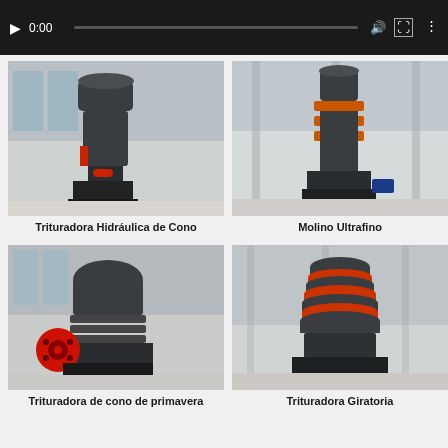[Figure (screenshot): Video player bar showing play button, timestamp 0:00, volume icon, fullscreen icon, and settings icon on black background]
[Figure (photo): Trituradora Hidráulica de Cono - Hydraulic cone crusher in dark grey with red accents in a factory warehouse]
Trituradora Hidráulica de Cono
[Figure (photo): Molino Ultrafino - Ultrafine mill, tall dark grey cylindrical machine with orange/red rings in a factory warehouse]
Molino Ultrafino
[Figure (photo): Trituradora de cono de primavera - Spring cone crusher, dark grey with large red flywheel in a factory warehouse]
Trituradora de cono de primavera
[Figure (photo): Trituradora Giratoria - Gyratory crusher, stacked dark grey and red disc-shaped machine in a factory warehouse]
Trituradora Giratoria